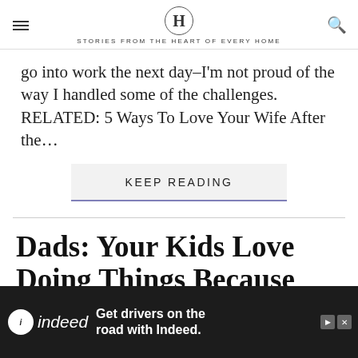H — STORIES FROM THE HEART OF EVERY HOME
go into work the next day–I'm not proud of the way I handled some of the challenges. RELATED: 5 Ways To Love Your Wife After the…
KEEP READING
Dads: Your Kids Love Doing Things Because They Get to
[Figure (other): Indeed advertisement banner: 'Get drivers on the road with Indeed.' with Indeed logo on dark background]